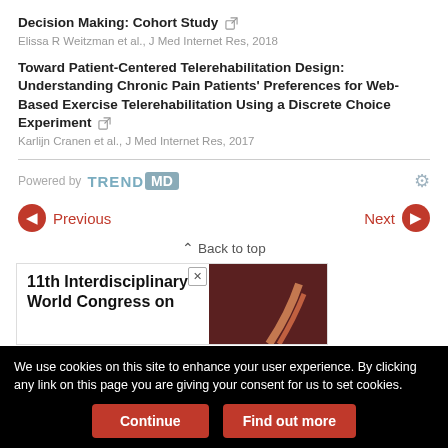Decision Making: Cohort Study
Elissa R Weitzman et al., J Med Internet Res, 2018
Toward Patient-Centered Telerehabilitation Design: Understanding Chronic Pain Patients' Preferences for Web-Based Exercise Telerehabilitation Using a Discrete Choice Experiment
Karlijn Cranen et al., J Med Internet Res, 2017
[Figure (logo): Powered by TrendMD logo with gear icon]
Previous
Next
Back to top
[Figure (other): Advertisement banner: 11th Interdisciplinary World Congress on with image on right side]
We use cookies on this site to enhance your user experience. By clicking any link on this page you are giving your consent for us to set cookies.